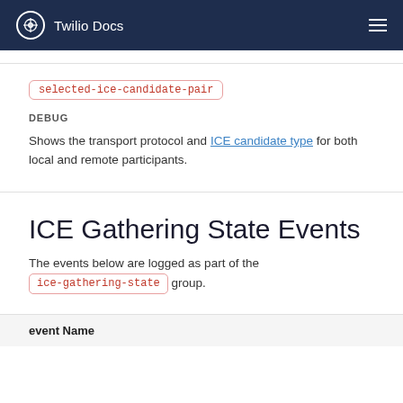Twilio Docs
selected-ice-candidate-pair
DEBUG
Shows the transport protocol and ICE candidate type for both local and remote participants.
ICE Gathering State Events
The events below are logged as part of the ice-gathering-state group.
| event Name |
| --- |